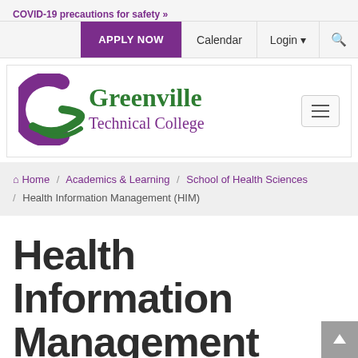COVID-19 precautions for safety »
APPLY NOW  Calendar  Login  🔍
[Figure (logo): Greenville Technical College logo with purple G icon and green swoosh, with purple and green text]
Home / Academics & Learning / School of Health Sciences / Health Information Management (HIM)
Health Information Management (HIM)